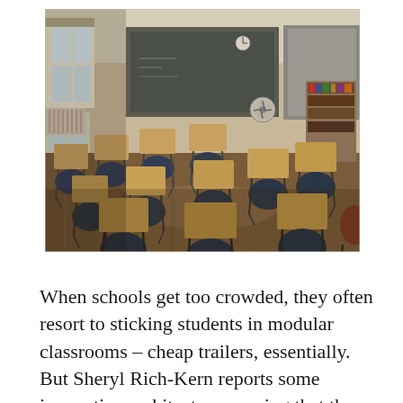[Figure (photo): Interior of an empty school classroom with rows of student desks with attached seats (dark blue chairs with wooden-topped desks), a chalkboard at the front, bookshelves, a fan, windows with natural light, and a hardwood floor.]
When schools get too crowded, they often resort to sticking students in modular classrooms – cheap trailers, essentially. But Sheryl Rich-Kern reports some innovative architects are saying that the energy savings and efficiency of modulars make them an ideal